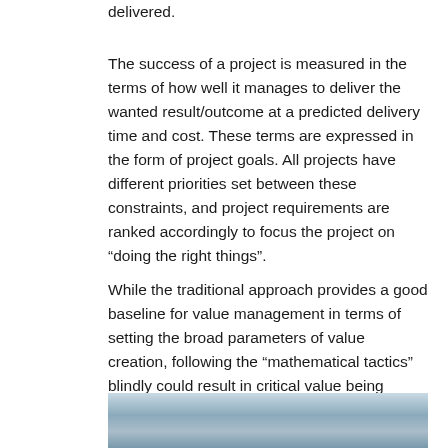delivered.
The success of a project is measured in the terms of how well it manages to deliver the wanted result/outcome at a predicted delivery time and cost. These terms are expressed in the form of project goals. All projects have different priorities set between these constraints, and project requirements are ranked accordingly to focus the project on “doing the right things”.
While the traditional approach provides a good baseline for value management in terms of setting the broad parameters of value creation, following the “mathematical tactics” blindly could result in critical value being forgotten or lost.
[Figure (photo): Partial view of a sky/cloud photograph at the bottom of the page]